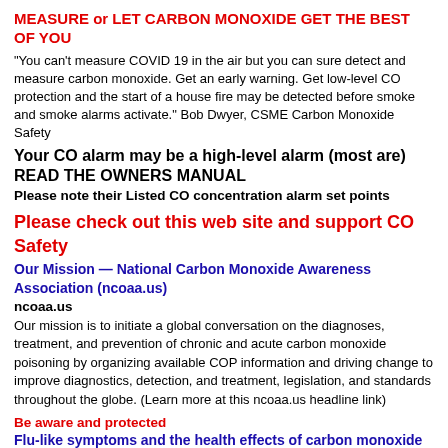MEASURE or LET CARBON MONOXIDE GET THE BEST OF YOU
"You can't measure COVID 19 in the air but you can sure detect and measure carbon monoxide. Get an early warning. Get low-level CO protection and the start of a house fire may be detected before smoke and smoke alarms activate." Bob Dwyer, CSME Carbon Monoxide Safety
Your CO alarm may be a high-level alarm (most are)
READ THE OWNERS MANUAL
Please note their Listed CO concentration alarm set points
Please check out this web site and support CO Safety
Our Mission — National Carbon Monoxide Awareness Association (ncoaa.us)
ncoaa.us
Our mission is to initiate a global conversation on the diagnoses, treatment, and prevention of chronic and acute carbon monoxide poisoning by organizing available COP information and driving change to improve diagnostics, detection, and treatment, legislation, and standards throughout the globe. (Learn more at this ncoaa.us headline link)
Be aware and protected
Flu-like symptoms and the health effects of carbon monoxide exposure COSABD7m34s
COSA - Are your symptoms flu-like? Don't get lost in the symptoms – measure carbon monoxide. No matter what you do for a living you should know about the health impacts of carbon monoxide exposure and what